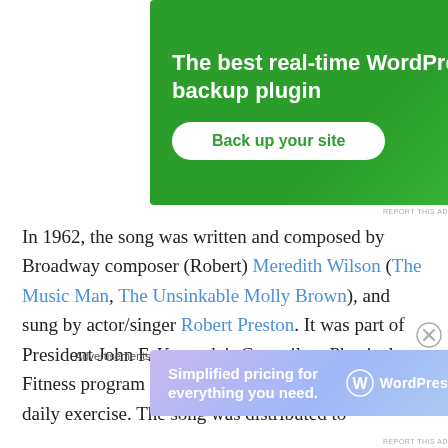[Figure (other): Green advertisement banner for WordPress backup plugin reading 'The best real-time WordPress backup plugin' with a 'Back up your site' button]
REPORT THIS AD
In 1962, the song was written and composed by Broadway composer (Robert) Meredith Wilson (The Music Man, The Unsinkable Molly Brown), and sung by actor/singer Robert Preston. It was part of President John F. Kennedy's Council on Physical Fitness program to get schoolchildren to do more daily exercise. The song was distributed to
Advertisements
[Figure (other): WordPress.com advertisement with purple/blue gradient background reading 'Simplified pricing for everything you need.' with WordPress.com logo]